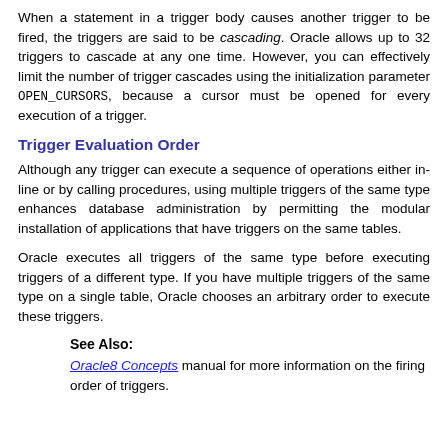When a statement in a trigger body causes another trigger to be fired, the triggers are said to be cascading. Oracle allows up to 32 triggers to cascade at any one time. However, you can effectively limit the number of trigger cascades using the initialization parameter OPEN_CURSORS, because a cursor must be opened for every execution of a trigger.
Trigger Evaluation Order
Although any trigger can execute a sequence of operations either in-line or by calling procedures, using multiple triggers of the same type enhances database administration by permitting the modular installation of applications that have triggers on the same tables.
Oracle executes all triggers of the same type before executing triggers of a different type. If you have multiple triggers of the same type on a single table, Oracle chooses an arbitrary order to execute these triggers.
See Also:
Oracle8 Concepts manual for more information on the firing order of triggers.